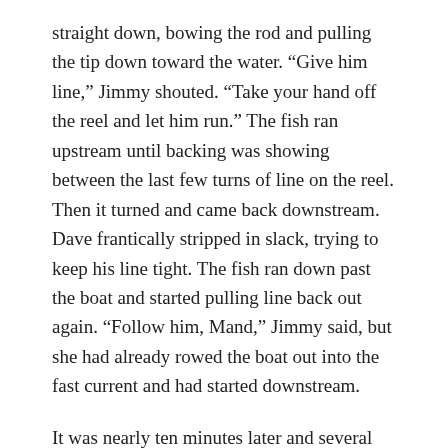straight down, bowing the rod and pulling the tip down toward the water. “Give him line,” Jimmy shouted. “Take your hand off the reel and let him run.” The fish ran upstream until backing was showing between the last few turns of line on the reel. Then it turned and came back downstream. Dave frantically stripped in slack, trying to keep his line tight. The fish ran down past the boat and started pulling line back out again. “Follow him, Mand,” Jimmy said, but she had already rowed the boat out into the fast current and had started downstream.
It was nearly ten minutes later and several hundred yards downstream when Dave brought the fish close enough to the boat that Jimmy was able to reach the long-handled boat net under it and swing it up into the boat. Dave whooped for joy as the large fish flopped once and then lay still with only its golden gill covers pulsing rhythmically open and closed. It had large red and brown